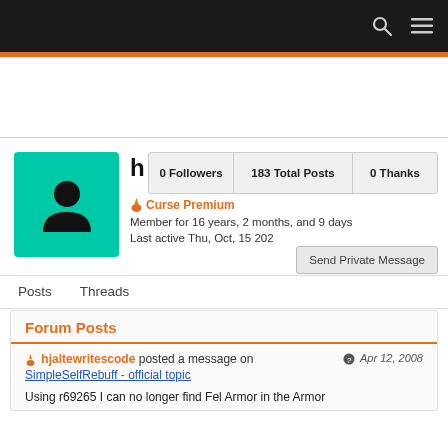Navigation bar with search and menu icons
[Figure (screenshot): User profile page screenshot showing avatar, stats (0 Followers, 183 Total Posts, 0 Thanks), Curse Premium badge, membership info, tabs for Posts and Threads, and a Forum Posts section with a post by hjaltewritescode on Apr 12, 2008 about SimpleSelfRebuff - official topic]
0 Followers   183 Total Posts   0 Thanks
Curse Premium
Member for 16 years, 2 months, and 9 days
Last active Thu, Oct, 15 202
Send Private Message
Forum Posts
hjaltewritescode posted a message on
Apr 12, 2008
SimpleSelfRebuff - official topic
Using r69265 I can no longer find Fel Armor in the Armor